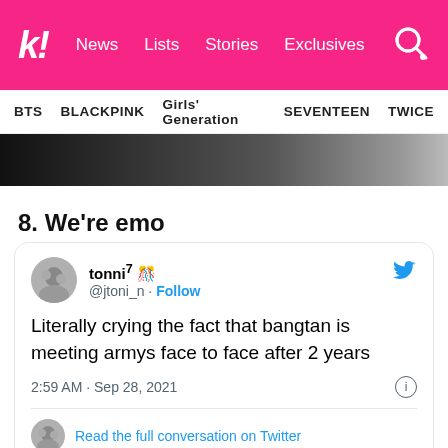k! News Lists Stories Exclusives
BTS BLACKPINK Girls' Generation SEVENTEEN TWICE
[Figure (photo): Partial image strip showing dark background with partial view of people]
8. We're emo
tonni⁷ 🇺🇦 @jtoni_n · Follow

Literally crying the fact that bangtan is meeting armys face to face after 2 years

2:59 AM · Sep 28, 2021

Read the full conversation on Twitter